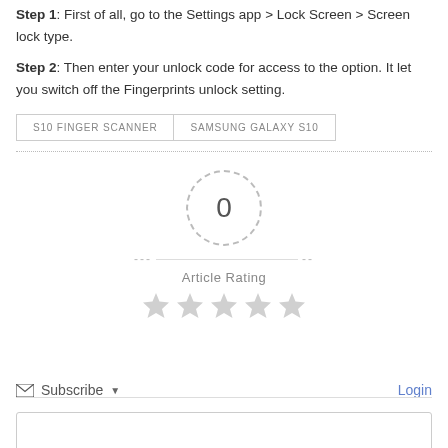Step 1: First of all, go to the Settings app > Lock Screen > Screen lock type.
Step 2: Then enter your unlock code for access to the option. It let you switch off the Fingerprints unlock setting.
S10 FINGER SCANNER
SAMSUNG GALAXY S10
[Figure (other): Article rating widget showing 0 rating in a dashed circle, dashes on either side, 'Article Rating' label, and five empty grey stars below]
Subscribe  Login